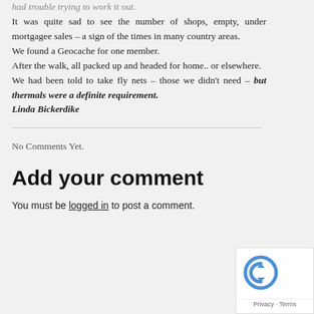had trouble trying to work it out.
It was quite sad to see the number of shops, empty, under mortgagee sales – a sign of the times in many country areas.
We found a Geocache for one member.
After the walk, all packed up and headed for home.. or elsewhere.
We had been told to take fly nets – those we didn't need – but thermals were a definite requirement.
Linda Bickerdike
No Comments Yet.
Add your comment
You must be logged in to post a comment.